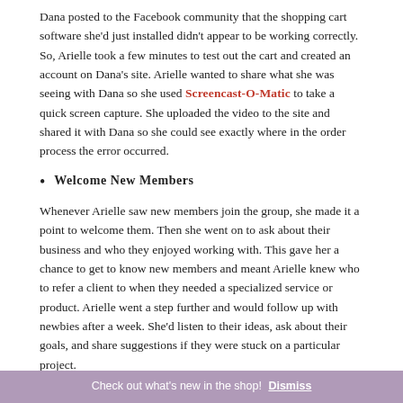Dana posted to the Facebook community that the shopping cart software she'd just installed didn't appear to be working correctly. So, Arielle took a few minutes to test out the cart and created an account on Dana's site. Arielle wanted to share what she was seeing with Dana so she used Screencast-O-Matic to take a quick screen capture. She uploaded the video to the site and shared it with Dana so she could see exactly where in the order process the error occurred.
Welcome New Members
Whenever Arielle saw new members join the group, she made it a point to welcome them. Then she went on to ask about their business and who they enjoyed working with. This gave her a chance to get to know new members and meant Arielle knew who to refer a client to when they needed a specialized service or product. Arielle went a step further and would follow up with newbies after a week. She'd listen to their ideas, ask about their goals, and share suggestions if they were stuck on a particular project.
Create A Thriving Community
Check out what's new in the shop! Dismiss